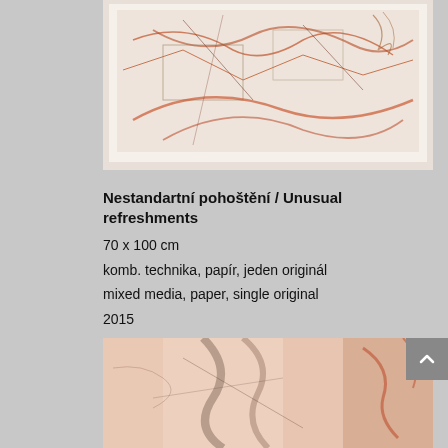[Figure (photo): Top portion of a mixed media artwork on paper showing abstract reddish-brown line drawing with architectural/figurative elements on cream/white background with white border/mat]
Nestandartní pohoštění  / Unusual refreshments
70 x 100 cm
komb. technika, papír, jeden originál
mixed media, paper, single original
2015
[Figure (photo): Close-up detail of a mixed media artwork showing abstract reddish-orange and brown marks, curves and lines on pale peach/cream paper background]